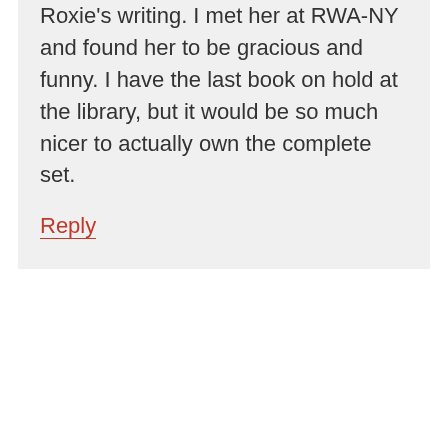Roxie's writing. I met her at RWA-NY and found her to be gracious and funny. I have the last book on hold at the library, but it would be so much nicer to actually own the complete set.
Reply
[Figure (illustration): Cartoon avatar of a stylized pink octagonal face wearing glasses with a neutral expression, set against a green circular background.]
Laurie Giese says October 31, 2013 at 4:10 pm
I've read all the Barefoot Bay